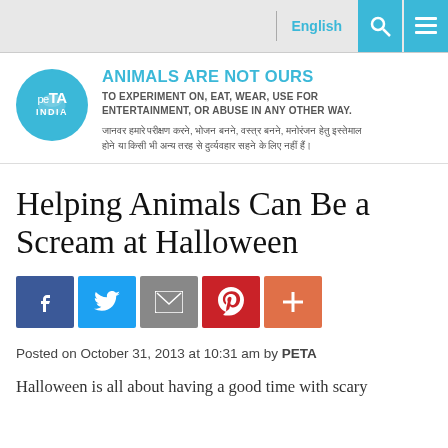English
[Figure (logo): PETA India circular logo in teal/cyan color with white text reading 'peTa INDIA' and a leaping animal silhouette]
ANIMALS ARE NOT OURS TO EXPERIMENT ON, EAT, WEAR, USE FOR ENTERTAINMENT, OR ABUSE IN ANY OTHER WAY.
जानवर हमारे परीक्षण करने, भोजन बनने, वस्त्र बनने, मनोरंजन हेतु इस्तेमाल होने या किसी भी अन्य तरह से दुर्व्यवहार सहने के लिए नहीं हैं।
Helping Animals Can Be a Scream at Halloween
[Figure (infographic): Social share buttons: Facebook (blue), Twitter (cyan), Email (gray), Pinterest (red), Plus/More (orange)]
Posted on October 31, 2013 at 10:31 am by PETA
Halloween is all about having a good time with scary